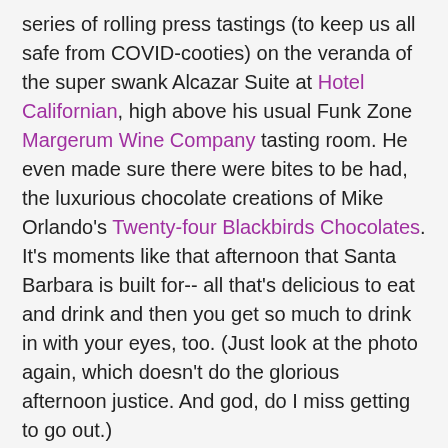series of rolling press tastings (to keep us all safe from COVID-cooties) on the veranda of the super swank Alcazar Suite at Hotel Californian, high above his usual Funk Zone Margerum Wine Company tasting room. He even made sure there were bites to be had, the luxurious chocolate creations of Mike Orlando's Twenty-four Blackbirds Chocolates. It's moments like that afternoon that Santa Barbara is built for-- all that's delicious to eat and drink and then you get so much to drink in with your eyes, too. (Just look at the photo again, which doesn't do the glorious afternoon justice. And god, do I miss getting to go out.)
So, what the heck is Mute-Age, you may ask? If it sounds all French to you you're right; it's a play on mutage, which is a way of making sweet wine by, yep, baking it. Doug put some of his Grenache (which is delicious on its own, of course, so that certainly helps as a place to start) in 34 liter demi-johns-- think very large tear-drop shaped bottles--and left it on the roof of his winery in Buellton. What he was doing is what the French do (minus the Buellton part, of course) to make Banyuls, their well-regarded dessert wine that comes from near the Spanish border. You see, baking the wine makes it